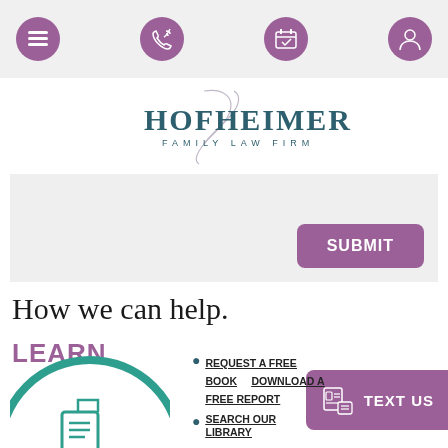Navigation bar with menu, phone, calendar, and account icons
[Figure (logo): Hofheimer Family Law Firm logo with decorative script H and teal serif wordmark]
[Figure (other): Gray form area with purple SUBMIT button]
How we can help.
LEARN
[Figure (other): TEXT US floating purple button with icon]
[Figure (illustration): Teal circle with document icon illustration]
REQUEST A FREE BOOK
DOWNLOAD A FREE REPORT
SEARCH OUR LIBRARY